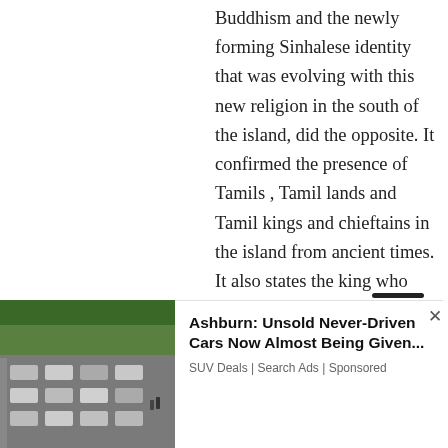Buddhism and the newly forming Sinhalese identity that was evolving with this new religion in the south of the island, did the opposite. It confirmed the presence of Tamils , Tamil lands and Tamil kings and chieftains in the island from ancient times. It also states the king who converted to Buddhism was a Tamil Saivite. His father was king Mootha Sivan meaning
Search for
[Figure (photo): Aerial/overhead photo of a parking lot full of cars with people walking]
Ashburn: Unsold Never-Driven Cars Now Almost Being Given... SUV Deals | Search Ads | Sponsored